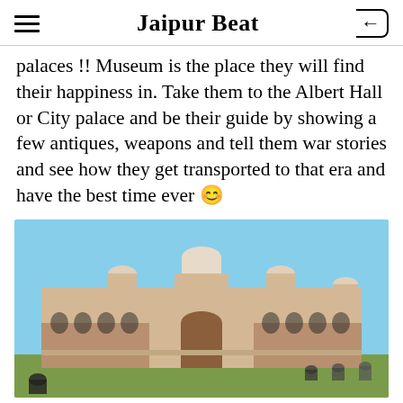Jaipur Beat
palaces !! Museum is the place they will find their happiness in. Take them to the Albert Hall or City palace and be their guide by showing a few antiques, weapons and tell them war stories and see how they get transported to that era and have the best time ever 😀
[Figure (photo): Photograph of Albert Hall Museum in Jaipur, an ornate Indo-Saracenic style building with domes, arches and towers under a blue sky, with people sitting on the lawn in the foreground.]